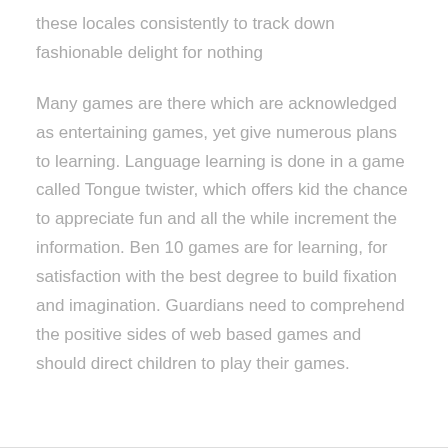these locales consistently to track down fashionable delight for nothing
Many games are there which are acknowledged as entertaining games, yet give numerous plans to learning. Language learning is done in a game called Tongue twister, which offers kid the chance to appreciate fun and all the while increment the information. Ben 10 games are for learning, for satisfaction with the best degree to build fixation and imagination. Guardians need to comprehend the positive sides of web based games and should direct children to play their games.